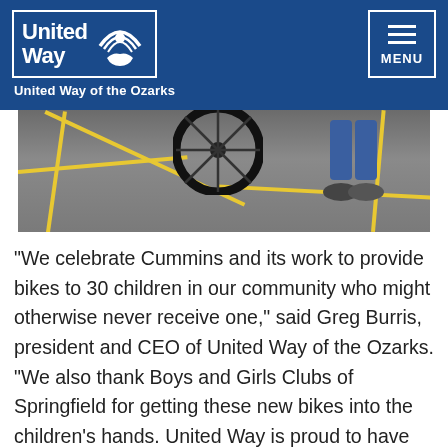United Way — United Way of the Ozarks
[Figure (photo): A bicycle wheel and a person's legs/feet walking across a parking lot with yellow painted lines on asphalt]
“We celebrate Cummins and its work to provide bikes to 30 children in our community who might otherwise never receive one,” said Greg Burris, president and CEO of United Way of the Ozarks. “We also thank Boys and Girls Clubs of Springfield for getting these new bikes into the children’s hands. United Way is proud to have played the role of ‘connector’ to both ensure these new bikes